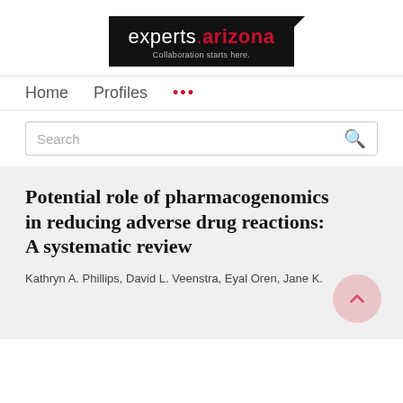[Figure (logo): experts.arizona logo with tagline 'Collaboration starts here.' on black background]
Home   Profiles   ...
Search
Potential role of pharmacogenomics in reducing adverse drug reactions: A systematic review
Kathryn A. Phillips, David L. Veenstra, Eyal Oren, Jane K.